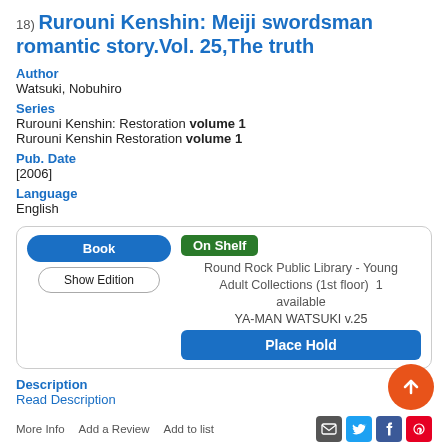18) Rurouni Kenshin: Meiji swordsman romantic story.Vol. 25,The truth
Author
Watsuki, Nobuhiro
Series
Rurouni Kenshin: Restoration volume 1
Rurouni Kenshin Restoration volume 1
Pub. Date
[2006]
Language
English
Book | On Shelf | Show Edition | Round Rock Public Library - Young Adult Collections (1st floor) 1 available | YA-MAN WATSUKI v.25 | Place Hold
Description
Read Description
More Info | Add a Review | Add to list